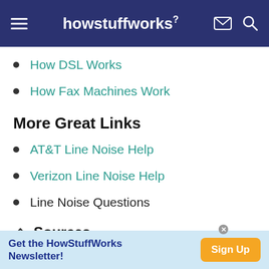howstuffworks
How DSL Works
How Fax Machines Work
More Great Links
AT&T Line Noise Help
Verizon Line Noise Help
Line Noise Questions
Sources
How Phone-line Networking
Get the HowStuffWorks Newsletter! Sign Up